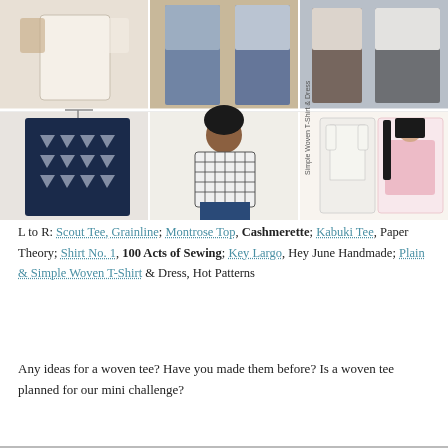[Figure (photo): A grid of 6 photos showing woven tee sewing patterns and finished garments: top row shows a cream boxy top, two people in jeans/tops, and a couple in casual shirts; bottom row shows a navy geometric print boxy tee on a hanger, a woman in a grid-print tee, and sewing pattern illustrations of a woven t-shirt and dress.]
L to R: Scout Tee, Grainline; Montrose Top, Cashmerette; Kabuki Tee, Paper Theory; Shirt No. 1, 100 Acts of Sewing; Key Largo, Hey June Handmade; Plain & Simple Woven T-Shirt & Dress, Hot Patterns
Any ideas for a woven tee? Have you made them before? Is a woven tee planned for our mini challenge?